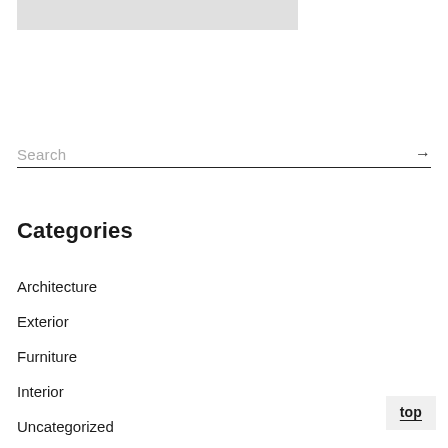[Figure (other): Gray rectangular image placeholder at top of page]
Search
Categories
Architecture
Exterior
Furniture
Interior
Uncategorized
Urban
top